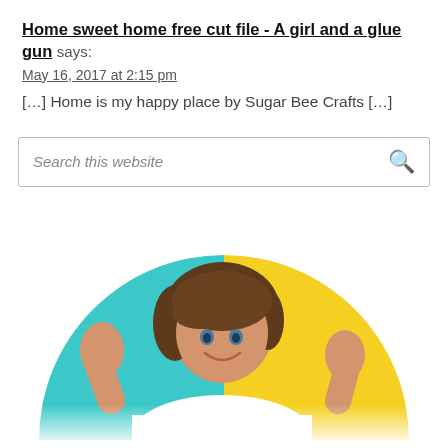Home sweet home free cut file - A girl and a glue gun says:
May 16, 2017 at 2:15 pm
[…] Home is my happy place by Sugar Bee Crafts […]
[Figure (other): Search bar with placeholder text 'Search this website' and a magnifying glass icon on the right]
[Figure (photo): A smiling woman with wavy brown hair posing with hands raised, in front of a background split between teal/turquoise on the left and yellow on the right, shown cropped in a semicircle at the bottom of the page]